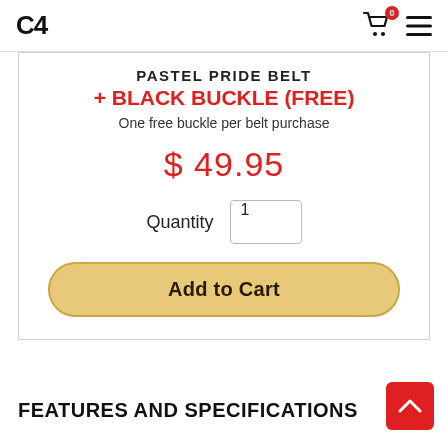C4
PASTEL PRIDE BELT + BLACK BUCKLE (FREE)
One free buckle per belt purchase
$ 49.95
Quantity 1
Add to Cart
FEATURES AND SPECIFICATIONS